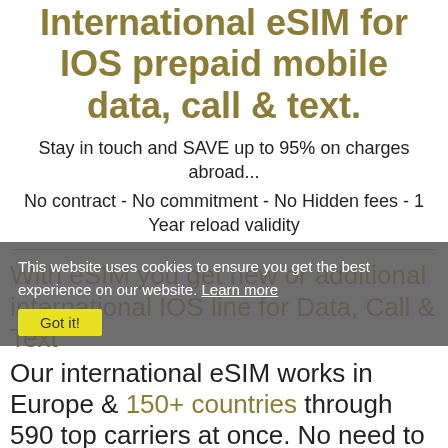International eSIM for IOS prepaid mobile data, call & text.
Stay in touch and SAVE up to 95% on charges abroad... No contract - No commitment - No Hidden fees - 1 Year reload validity
With eSIM you get new or additional international IOS line for Data, Call & Text
Our international eSIM works in Europe & 150+ countries through 590 top carriers at once. No need to change SIM just switch networks on the fly...
This website uses cookies to ensure you get the best experience on our website. Learn more Got it!